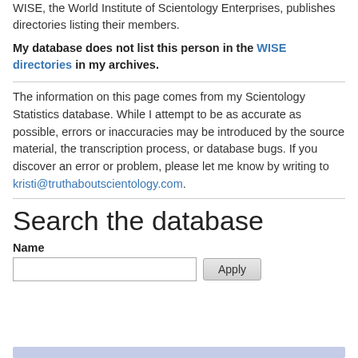WISE, the World Institute of Scientology Enterprises, publishes directories listing their members.
My database does not list this person in the WISE directories in my archives.
The information on this page comes from my Scientology Statistics database. While I attempt to be as accurate as possible, errors or inaccuracies may be introduced by the source material, the transcription process, or database bugs. If you discover an error or problem, please let me know by writing to kristi@truthaboutscientology.com.
Search the database
Name